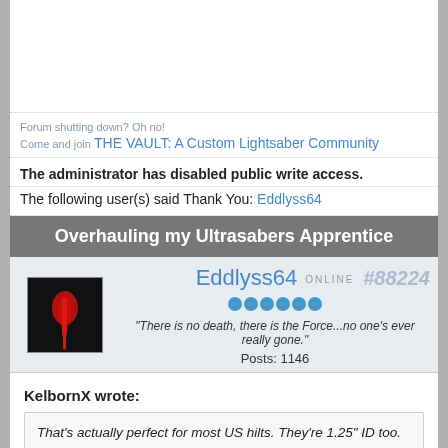Forum shutting down? Oh no!
Come and join THE VAULT: A Custom Lightsaber Community
The administrator has disabled public write access.
The following user(s) said Thank You: Eddlyss64
Overhauling my Ultrasabers Apprentice
Eddlyss64 ONLINE #88224
Posts: 1146
"There is no death, there is the Force...no one's ever really gone."
KelbornX wrote:
That's actually perfect for most US hilts. They're 1.25" ID too. The Pico is the same size as the NB, so it'll fit into any NB chassis.